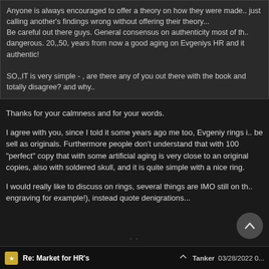Anyone is always encouraged to offer a theory on how they were made.. just calling another's findings wrong without offering their theory... Be careful out there guys. General consensus on authenticity most of th.. dangerous. 20,,50, years from now a good aging on Evgeniys HR and it authentic!
SO,,IT is very simple - , are there any of you out there with the book and totally disagree? and why..
Thanks for your calmness and for your words.
I agree with you, since I told it some years ago me too, Evgeniy rings i.. be sell as originals. Furthermore people don't understand that with 100 "perfect" copy that with some artificial aging is very close to an original copies, also with soldered skull, and it is quite simple with a nice ring.
I would really like to discuss on rings, several things are IMO still on th.. engraving for example!), instead quote denigrations...
Re: Market for HR's   Tanker  03/28/2022 0...